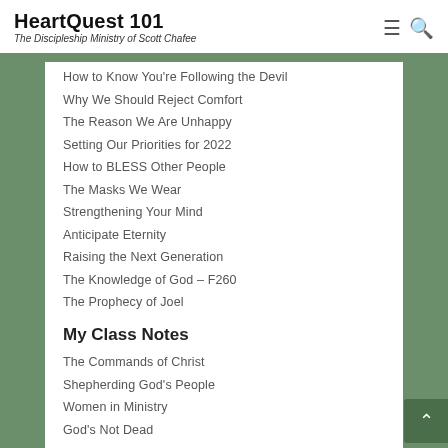HeartQuest 101 — The Discipleship Ministry of Scott Chafee
How to Know You're Following the Devil
Why We Should Reject Comfort
The Reason We Are Unhappy
Setting Our Priorities for 2022
How to BLESS Other People
The Masks We Wear
Strengthening Your Mind
Anticipate Eternity
Raising the Next Generation
The Knowledge of God – F260
The Prophecy of Joel
My Class Notes
The Commands of Christ
Shepherding God's People
Women in Ministry
God's Not Dead